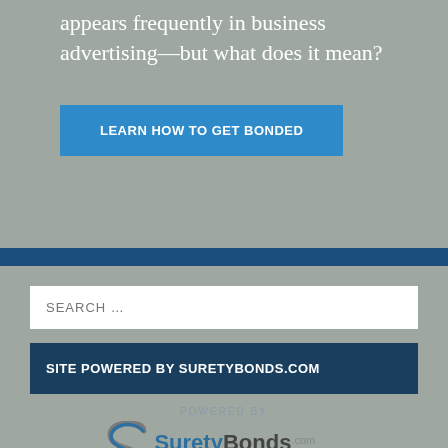appears frequently in business advertising—but what does it mean?
LEARN HOW TO GET BONDED
SEARCH …
SITE POWERED BY SURETYBONDS.COM
POWERED BY
[Figure (logo): SuretyBonds.com logo with stylized S icon and tagline GUARANTEED PERFORMANCE, NATIONWIDE]